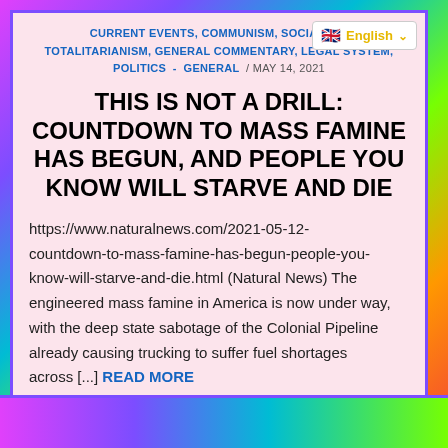English
CURRENT EVENTS, COMMUNISM, SOCIALISM, TOTALITARIANISM, GENERAL COMMENTARY, LEGAL SYSTEM, POLITICS - GENERAL / MAY 14, 2021
THIS IS NOT A DRILL: COUNTDOWN TO MASS FAMINE HAS BEGUN, AND PEOPLE YOU KNOW WILL STARVE AND DIE
https://www.naturalnews.com/2021-05-12-countdown-to-mass-famine-has-begun-people-you-know-will-starve-and-die.html (Natural News) The engineered mass famine in America is now under way, with the deep state sabotage of the Colonial Pipeline already causing trucking to suffer fuel shortages across [...] READ MORE